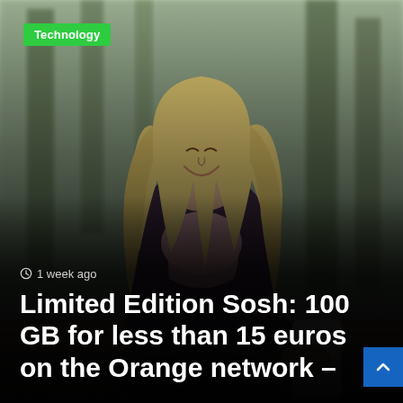[Figure (photo): Young blonde woman sitting on a bench outdoors, smiling and looking at her smartphone. She is wearing a purple coat and a pink scarf. Background shows blurred trees and a park setting.]
Technology
© 1 week ago
Limited Edition Sosh: 100 GB for less than 15 euros on the Orange network –